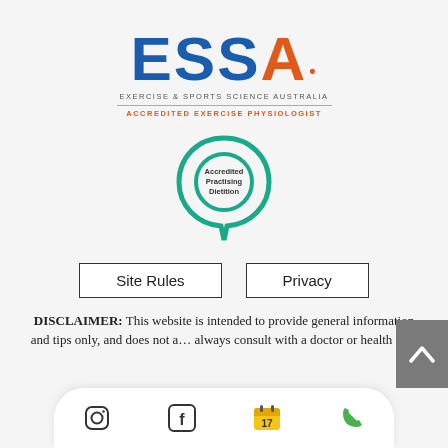[Figure (logo): ESSA Exercise & Sports Science Australia logo with blue ESS and orange A, subtitle 'EXERCISE & SPORTS SCIENCE AUSTRALIA', divider line, and orange text 'ACCREDITED EXERCISE PHYSIOLOGIST']
[Figure (logo): Accredited Practising Dietitian (APD) circular logo in teal/green]
Site Rules
Privacy
DISCLAIMER: This website is intended to provide general information and tips only, and does not a... always consult with a doctor or health care
[Figure (infographic): Mobile social media bar with Instagram, Facebook, Calendar (17), and Phone icons, plus a grey scroll-to-top arrow button]